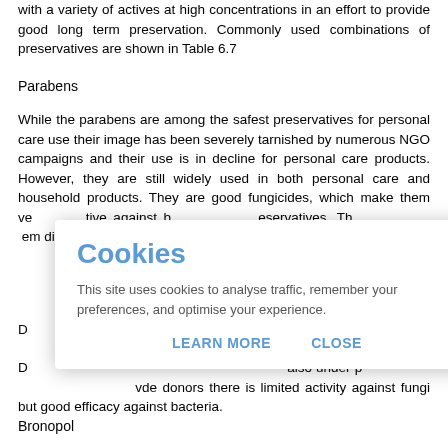with a variety of actives at high concentrations in an effort to provide good long term preservation. Commonly used combinations of preservatives are shown in Table 6.7
Parabens
While the parabens are among the safest preservatives for personal care use their image has been severely tarnished by numerous NGO campaigns and their use is in decline for personal care products. However, they are still widely used in both personal care and household products. They are good fungicides, which make them ve... tive against b... eservatives. Th... em difficult to... t such as p...
D...
D... also under p... vde donors there is limited activity against fungi but good efficacy against bacteria.
Bronopol
[Figure (other): Cookie consent modal dialog with title 'Cookies', description text about site using cookies to analyse traffic, remember preferences, and optimise experience, and two buttons: LEARN MORE and CLOSE]